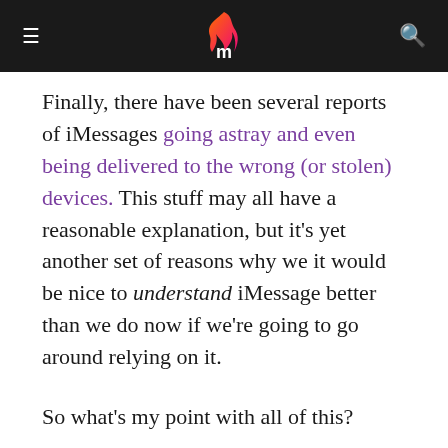Macworld navigation header with hamburger menu, logo, and search icon
Finally, there have been several reports of iMessages going astray and even being delivered to the wrong (or stolen) devices. This stuff may all have a reasonable explanation, but it’s yet another set of reasons why we it would be nice to understand iMessage better than we do now if we’re going to go around relying on it.
So what’s my point with all of this?
This is obviously not a technical post. I’m not